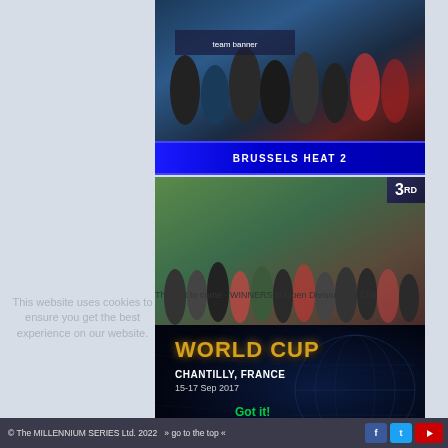[Figure (photo): Brussels Heat 2 team photo with crowd, blue banner at bottom]
[Figure (photo): 3rd place team photo - Fun Factory Scandinavia, blue banner, millennium-series.com URL at bottom]
The first to come - WINNERS in Open Division 4 in Cha
[Figure (photo): World Cup Chantilly France 15-17 Sep 2017 promotional banner with gold text on dark blue background]
This website uses cookies to ensure you get the best experience on our website.
Got it!
© The MILLENNIUM SERIES Ltd. 2022  » go to the top «